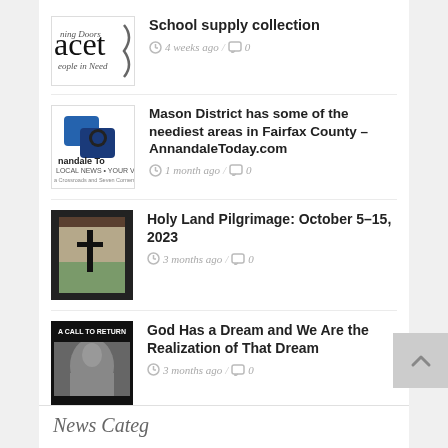[Figure (logo): Partial logo reading 'acet' with text 'ning Doors' and 'eople in Need' below, stylized brace graphic]
School supply collection
4 weeks ago / 0
[Figure (logo): Annandale Today logo with blue speech bubble graphic and text 'nandale To LOCAL NEWS • YOUR VIEW a Crossroads and Seven Corners']
Mason District has some of the neediest areas in Fairfax County – AnnandaleToday.com
1 month ago / 0
[Figure (photo): Photo of a cross silhouetted against a landscape with decorative border]
Holy Land Pilgrimage: October 5–15, 2023
3 months ago / 0
[Figure (photo): Book cover reading 'A CALL TO RETURN' with a portrait photo of a person in black and white]
God Has a Dream and We Are the Realization of That Dream
3 months ago / 0
News Categories